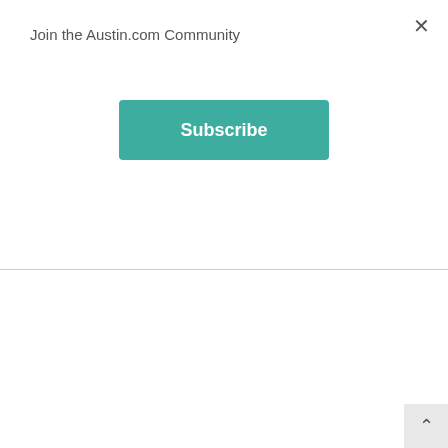Join the Austin.com Community
Subscribe
Bob Wentz Park
Bob Wentz Park at Windy Point (7144 Comanche Trail, Austin) is located on Lake Travis and is...